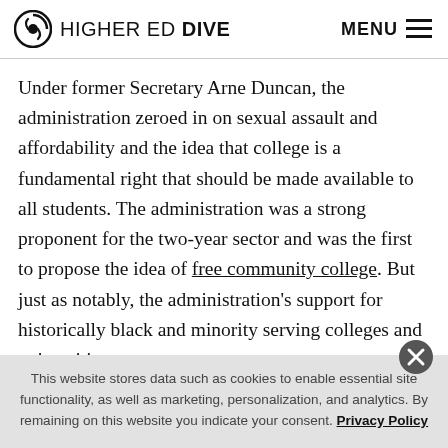HIGHER ED DIVE | MENU
Under former Secretary Arne Duncan, the administration zeroed in on sexual assault and affordability and the idea that college is a fundamental right that should be made available to all students. The administration was a strong proponent for the two-year sector and was the first to propose the idea of free community college. But just as notably, the administration's support for historically black and minority serving colleges and universities was seemingly non-existent, which seemed to counter the idea
This website stores data such as cookies to enable essential site functionality, as well as marketing, personalization, and analytics. By remaining on this website you indicate your consent. Privacy Policy